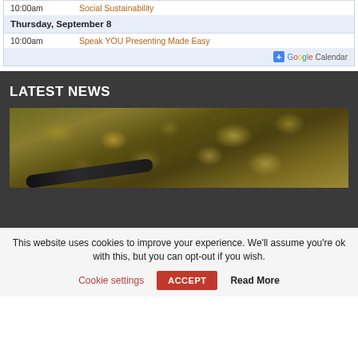| 10:00am | Social Sustainability |
| Thursday, September 8 |  |
| 10:00am | Speak YOU Presenting Made Easy |
[Figure (screenshot): Google Calendar add button with colored Google text]
LATEST NEWS
[Figure (photo): Close-up photo of rocky/mineral terrain with a dark pen or tool visible in the lower portion]
This website uses cookies to improve your experience. We'll assume you're ok with this, but you can opt-out if you wish.
Cookie settings   ACCEPT   Read More